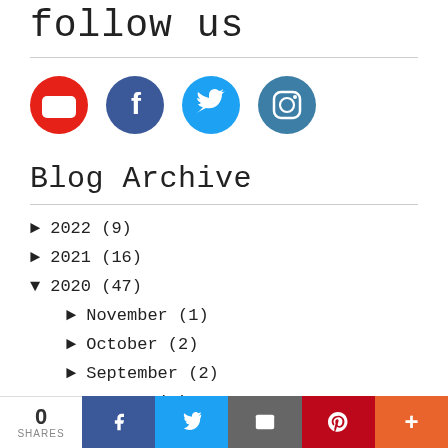follow us
[Figure (illustration): Four social media icons in a row: YouTube (red circle), Facebook (dark blue circle), Twitter (light blue circle), Instagram (teal circle)]
Blog Archive
► 2022 (9)
► 2021 (16)
▼ 2020 (47)
► November (1)
► October (2)
► September (2)
► August (3)
0 SHARES | Facebook | Twitter | Email | Pinterest | More